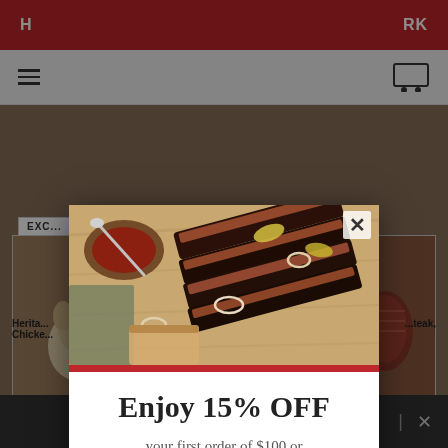[Figure (screenshot): Website background with red header bar, navigation, and product cards visible behind a modal popup overlay]
[Figure (photo): Grilled BBQ brisket/beef ribs sliced on a wooden cutting board with onion rings, peppers, and sauce bowl — modal header image]
Enjoy 15% OFF
your first order of $100 or more* when you subscribe!
Enter your email address
ACTIVATE OFFER
No Thank You